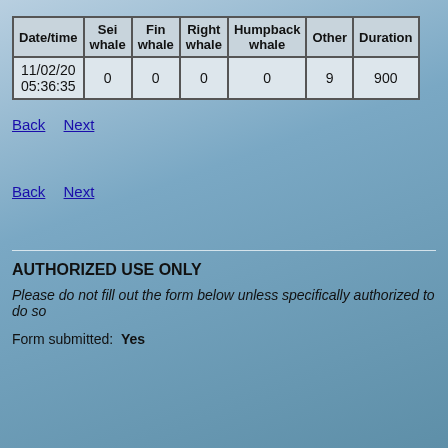| Date/time | Sei whale | Fin whale | Right whale | Humpback whale | Other | Duration |
| --- | --- | --- | --- | --- | --- | --- |
| 11/02/20 05:36:35 | 0 | 0 | 0 | 0 | 9 | 900 |
Back   Next
Back   Next
AUTHORIZED USE ONLY
Please do not fill out the form below unless specifically authorized to do so
Form submitted:  Yes